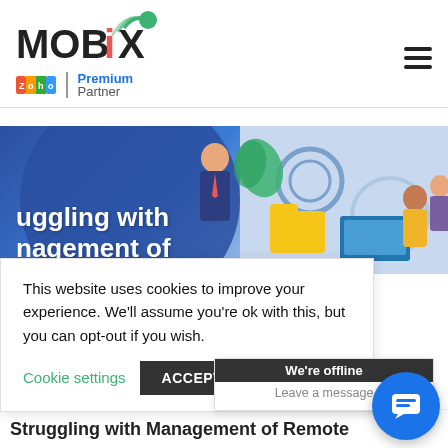[Figure (logo): MOBIX logo with Zoho Premium Partner badge]
[Figure (illustration): Hero banner illustration showing remote work/management theme with characters at desks and gears, blue background. Partially visible text: 'uggling with nagement of']
This website uses cookies to improve your experience. We'll assume you're ok with this, but you can opt-out if you wish.
Cookie settings    ACCEPT
We're offline
Leave a message
Struggling with Management of Remote